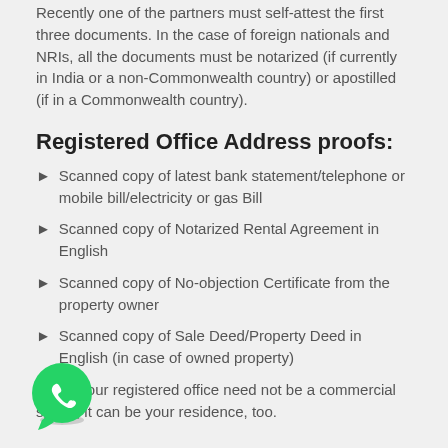Recently one of the partners must self-attest the first three documents. In the case of foreign nationals and NRIs, all the documents must be notarized (if currently in India or a non-Commonwealth country) or apostilled (if in a Commonwealth country).
Registered Office Address proofs:
Scanned copy of latest bank statement/telephone or mobile bill/electricity or gas Bill
Scanned copy of Notarized Rental Agreement in English
Scanned copy of No-objection Certificate from the property owner
Scanned copy of Sale Deed/Property Deed in English (in case of owned property)
Note: Your registered office need not be a commercial space, it can be your residence, too.
[Figure (logo): WhatsApp logo icon — green circle with white phone handset]